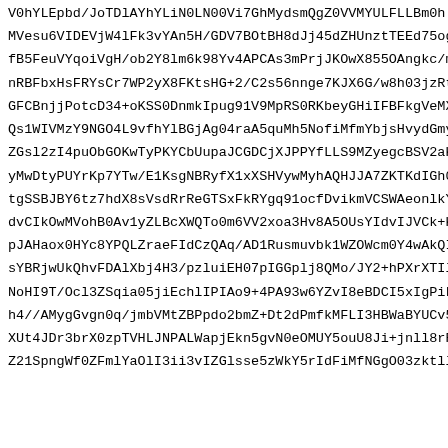V0hYLEpbd/JoTDlAYhYLiN0LN00Vi7GhMydsmQgZ0VVMYULFLLBm0h
MVesu6VIDEVjW4lFk3vYAn5H/GDV7BOtBH8dJj45dZHUnztTEEd75og
fB5FeuVYqoiVgH/ob2Y8lm6k98Yv4APCAs3mPrjJKOwX855OAngkc/m
nRBFbxHsFRYsCr7WP2yX8FKtsHG+2/C2s56nnge7KJX6G/w8h03jzRt
GFCBnjjPotcD34+oKSS0DnmkIpug91V9MpRS0RKbeyGHiIFBFkgVeMX
Qs1WIVMzY9NGO4L9vfhYlBGjAg04raA5quMh5NofiMfmYbjsHvydGmy
ZGsl2zI4puObGOKwTyPKYCbUupaJCGDCjXJPPYfLLS9MZyegcBSV2aK
yMwDtyPUYrKp7YTw/E1KsgNBRyfX1xXSHVywMyhAQHJJA7ZKTKdIGh0
tgSSBJBY6tz7hdX8sVsdRrReGTSxFkRYgq91ocfDvikmVCSWAeonlkY
dvCIkOwMVohB0Av1yZLBcXWQTo0m6VV2xoa3Hv8A5OUsYIdvIJVCk+K
pJAHaox0HYc8YPQLZraeFIdCzQAq/AD1Rusmuvbk1WZOWcm0Y4wAkQI
sYBRjwUkQhvFDAlXbj4H3/pzluiEH07pIGGplj8QMo/JY2+hPXrXTIl
NoHI9T/Ocl3ZSqia05jiEchlIPIAo9+4PA93w6YZvI8eBDCI5xIgPiL
h4//AMygGvgn0q/jmbVMtZBPpdo2bmZ+Dt2dPmfkMFLI3HBWaBYUCv5
XUt4JDr3brX0zpTVHLJNPALWapjEkn5gvN0eOMUY5ouU8Ji+jnll8rR
Z21SpngWf0ZFmlYaOlI3ii3vIZGlsse5zWkY5rIdFiMfNGgO03zktll